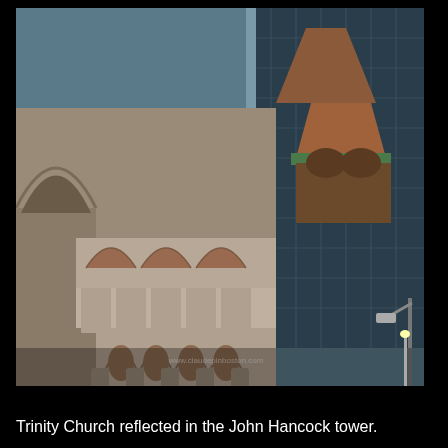[Figure (photo): Trinity Church in Boston reflected in the glass facade of the John Hancock tower. The foreground shows the ornate Romanesque stonework arches and columns of Trinity Church, with the modern blue-glass skyscraper behind it reflecting the church's distinctive pyramidal tower with terracotta brickwork and green copper details.]
Trinity Church reflected in the John Hancock tower.